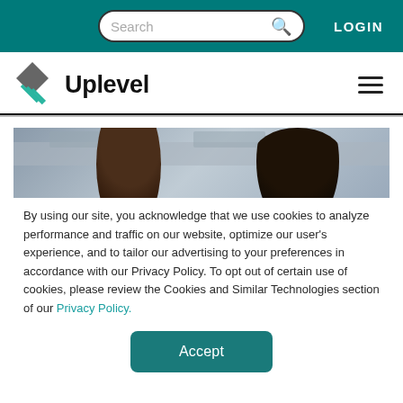Search | LOGIN
[Figure (logo): Uplevel company logo with stylized diamond/arrow mark in grey and teal, with text 'Uplevel']
[Figure (photo): Cropped photo showing two people from behind, one with straight dark hair and one with curly dark hair, in an office setting]
By using our site, you acknowledge that we use cookies to analyze performance and traffic on our website, optimize our user’s experience, and to tailor our advertising to your preferences in accordance with our Privacy Policy. To opt out of certain use of cookies, please review the Cookies and Similar Technologies section of our Privacy Policy.
Accept